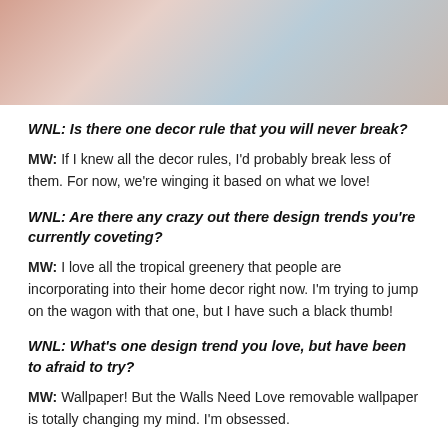[Figure (photo): Partial photo of a person at a desk with papers, wearing a white shirt, with a red element in background]
WNL: Is there one decor rule that you will never break?
MW: If I knew all the decor rules, I'd probably break less of them. For now, we're winging it based on what we love!
WNL: Are there any crazy out there design trends you're currently coveting?
MW: I love all the tropical greenery that people are incorporating into their home decor right now. I'm trying to jump on the wagon with that one, but I have such a black thumb!
WNL: What's one design trend you love, but have been to afraid to try?
MW: Wallpaper! But the Walls Need Love removable wallpaper is totally changing my mind. I'm obsessed.
WNL: If you could only eat one thing for the rest of your